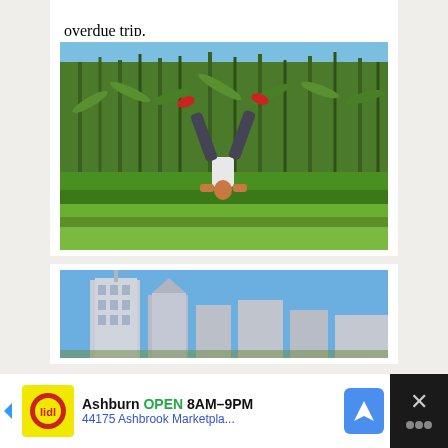overdue trip.
[Figure (photo): Person doing a one-arm handstand in front of a tall corn field on a sunny day, wearing dark leggings and red shoes.]
[Figure (photo): City skyline with tall skyscrapers against a clear blue sky, viewed from a low angle.]
[Figure (screenshot): Advertisement bar: Lidl store ad showing 'Ashburn OPEN 8AM-9PM' and '44175 Ashbrook Marketpla...' with navigation icon and close button.]